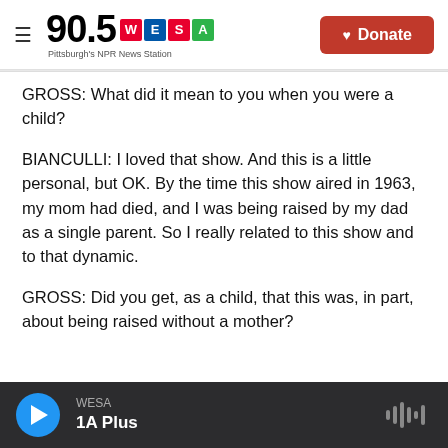[Figure (logo): 90.5 WESA Pittsburgh's NPR News Station logo with hamburger menu and Donate button]
GROSS: What did it mean to you when you were a child?
BIANCULLI: I loved that show. And this is a little personal, but OK. By the time this show aired in 1963, my mom had died, and I was being raised by my dad as a single parent. So I really related to this show and to that dynamic.
GROSS: Did you get, as a child, that this was, in part, about being raised without a mother?
WESA | 1A Plus